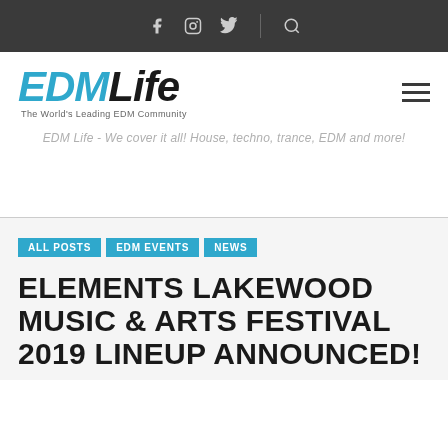Social navigation bar with Facebook, Instagram, Twitter icons and search
[Figure (logo): EDMLife logo — EDM in bold italic blue, Life in bold italic black, tagline: The World's Leading EDM Community]
EDM Life - We cover it all! House, techno, trance, EDM and more!
ALL POSTS
EDM EVENTS
NEWS
ELEMENTS LAKEWOOD MUSIC & ARTS FESTIVAL 2019 LINEUP ANNOUNCED!